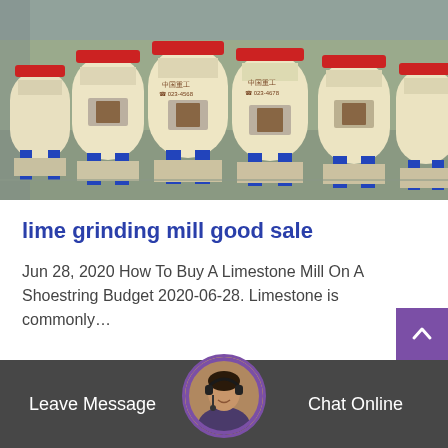[Figure (photo): Row of large cream-colored industrial grinding mills (cone crushers) with red accent bands, mounted on blue steel frames in a factory/warehouse setting.]
lime grinding mill good sale
Jun 28, 2020 How To Buy A Limestone Mill On A Shoestring Budget 2020-06-28. Limestone is commonly…
[Figure (photo): Footer bar with dark semi-transparent background showing a customer service representative with headset in a circular avatar in the center, 'Leave Message' on left, 'Chat Online' on right, and a purple scroll-to-top button.]